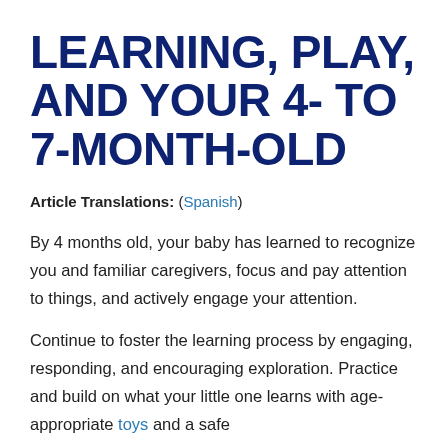LEARNING, PLAY, AND YOUR 4- TO 7-MONTH-OLD
Article Translations: (Spanish)
By 4 months old, your baby has learned to recognize you and familiar caregivers, focus and pay attention to things, and actively engage your attention.
Continue to foster the learning process by engaging, responding, and encouraging exploration. Practice and build on what your little one learns with age-appropriate toys and a safe